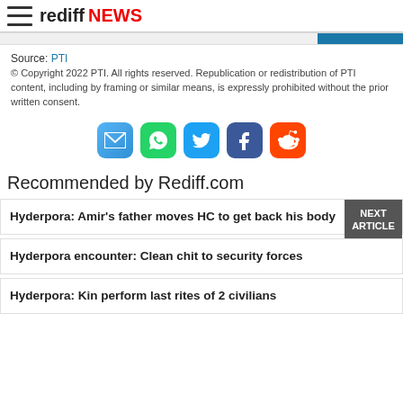rediff NEWS
Source: PTI
© Copyright 2022 PTI. All rights reserved. Republication or redistribution of PTI content, including by framing or similar means, is expressly prohibited without the prior written consent.
[Figure (infographic): Social sharing icons: Email, WhatsApp, Twitter, Facebook, Reddit]
Recommended by Rediff.com
Hyderpora: Amir's father moves HC to get back his body
Hyderpora encounter: Clean chit to security forces
Hyderpora: Kin perform last rites of 2 civilians